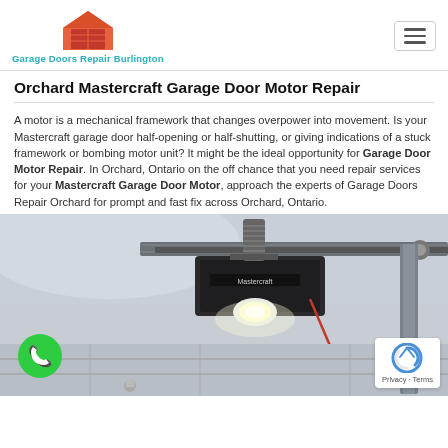Garage Doors Repair Burlington
Orchard Mastercraft Garage Door Motor Repair
A motor is a mechanical framework that changes overpower into movement. Is your Mastercraft garage door half-opening or half-shutting, or giving indications of a stuck framework or bombing motor unit? It might be the ideal opportunity for Garage Door Motor Repair. In Orchard, Ontario on the off chance that you need repair services for your Mastercraft Garage Door Motor, approach the experts of Garage Doors Repair Orchard for prompt and fast fix across Orchard, Ontario.
[Figure (photo): Photograph of a Mastercraft garage door motor/opener unit mounted on the ceiling of a garage, showing the motor unit with LED light, chain rail, and a red emergency release cord. A green phone button icon is overlaid in the bottom left, and a reCAPTCHA badge appears in the bottom right.]